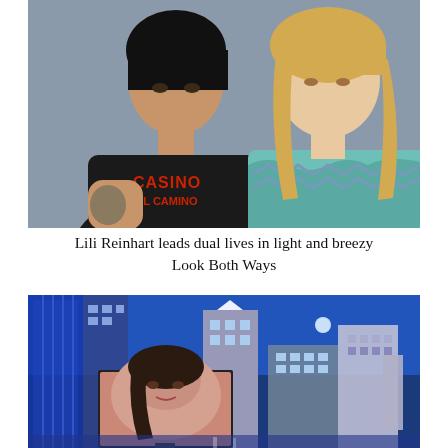[Figure (photo): Two people facing each other against a grey background. On the left, a young man wearing a black 'Casino El Camino' t-shirt with tattoos on his arm. On the right, a young woman with long blonde wavy hair wearing a teal/mint patterned sleeveless top.]
Lili Reinhart leads dual lives in light and breezy Look Both Ways
[Figure (photo): City skyline at night/dusk with tall modern skyscrapers lit up against a deep blue sky with a visible moon. In the foreground, a large outdoor billboard or screen displays a close-up image of a woman with dark hair lying down.]